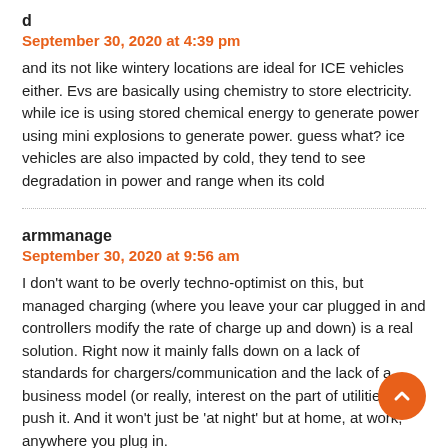d
September 30, 2020 at 4:39 pm
and its not like wintery locations are ideal for ICE vehicles either. Evs are basically using chemistry to store electricity. while ice is using stored chemical energy to generate power using mini explosions to generate power. guess what? ice vehicles are also impacted by cold, they tend to see degradation in power and range when its cold
armmanage
September 30, 2020 at 9:56 am
I don't want to be overly techno-optimist on this, but managed charging (where you leave your car plugged in and controllers modify the rate of charge up and down) is a real solution. Right now it mainly falls down on a lack of standards for chargers/communication and the lack of a business model (or really, interest on the part of utilities) to push it. And it won't just be 'at night' but at home, at work, anywhere you plug in.
The piece of the puzzle for what happens in future: the problem is at low penetrations of EVs this technology is on